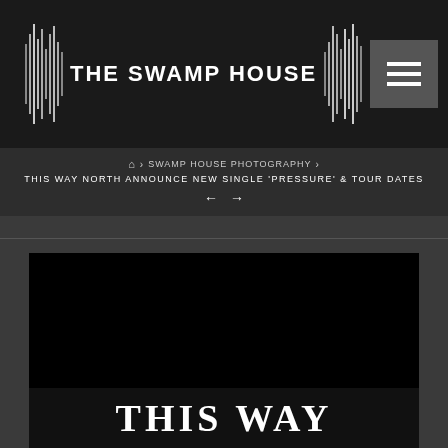THE SWAMP HOUSE
Home › SWAMP HOUSE PHOTOGRAPHY › THIS WAY NORTH ANNOUNCE NEW SINGLE 'PRESSURE' & TOUR DATES
[Figure (photo): Dark/black photograph area with a bottom strip showing large white bold serif text reading 'THIS WAY']
THIS WAY